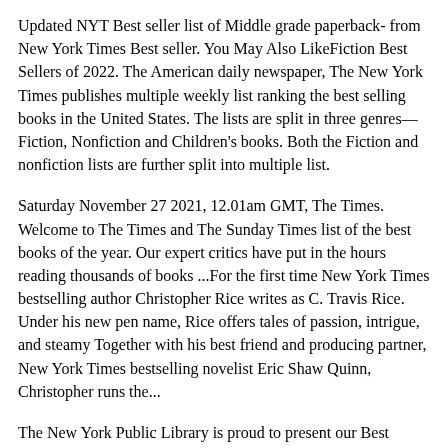Updated NYT Best seller list of Middle grade paperback- from New York Times Best seller. You May Also LikeFiction Best Sellers of 2022. The American daily newspaper, The New York Times publishes multiple weekly list ranking the best selling books in the United States. The lists are split in three genres—Fiction, Nonfiction and Children's books. Both the Fiction and nonfiction lists are further split into multiple list.
Saturday November 27 2021, 12.01am GMT, The Times. Welcome to The Times and The Sunday Times list of the best books of the year. Our expert critics have put in the hours reading thousands of books ...For the first time New York Times bestselling author Christopher Rice writes as C. Travis Rice. Under his new pen name, Rice offers tales of passion, intrigue, and steamy Together with his best friend and producing partner, New York Times bestselling novelist Eric Shaw Quinn, Christopher runs the...
The New York Public Library is proud to present our Best Books of 2021. Our annual recommendations for kids, teens, and adults, curated by our expert librarians, encompass fiction, nonfiction, graphic novels, poetry, kids' books in Spanish, and much more. All of these books are in the Library's catalog and many are available in multiple formats, including e-books, audiobooks, and ...'New York Times' Changes Children's Bestseller Lists. The hardcover lists will appear in print, and the paperback and e-book lists will be